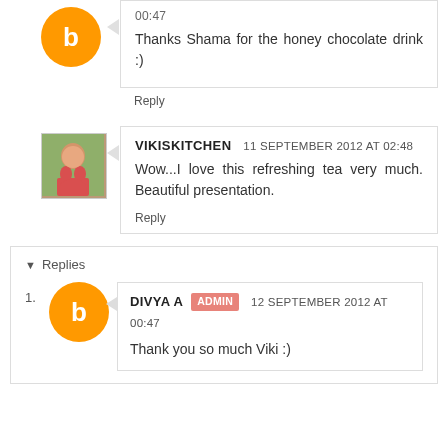00:47
Thanks Shama for the honey chocolate drink :)
Reply
VIKISKITCHEN 11 SEPTEMBER 2012 AT 02:48
Wow...I love this refreshing tea very much. Beautiful presentation.
Reply
Replies
DIVYA A ADMIN 12 SEPTEMBER 2012 AT 00:47
Thank you so much Viki :)